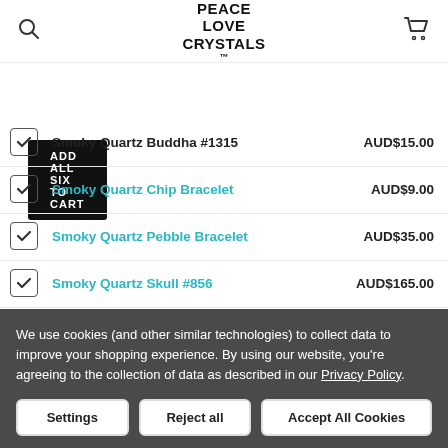PEACE LOVE CRYSTALS
Smoky Quartz Buddha #1315   AUD$15.00
Smoky Quartz Chip Bracelet   AUD$9.00
Smoky Quartz Pebble Bracelet   AUD$35.00
Smoky Quartz Skull #856   AUD$165.00
Smoky Quartz Buddha #1309   AUD$15.00
Smoky Quartz Buddha #1313   AUD$15.00
We use cookies (and other similar technologies) to collect data to improve your shopping experience. By using our website, you're agreeing to the collection of data as described in our Privacy Policy.